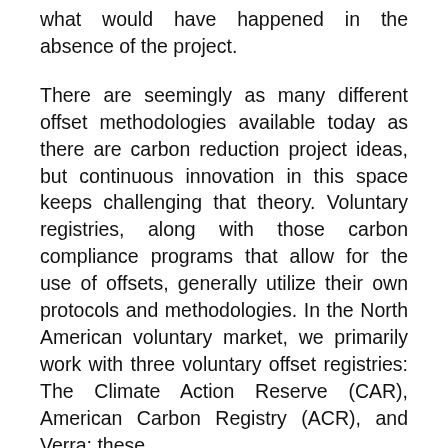what would have happened in the absence of the project.
There are seemingly as many different offset methodologies available today as there are carbon reduction project ideas, but continuous innovation in this space keeps challenging that theory. Voluntary registries, along with those carbon compliance programs that allow for the use of offsets, generally utilize their own protocols and methodologies. In the North American voluntary market, we primarily work with three voluntary offset registries: The Climate Action Reserve (CAR), American Carbon Registry (ACR), and Verra; these the registries offer more than too